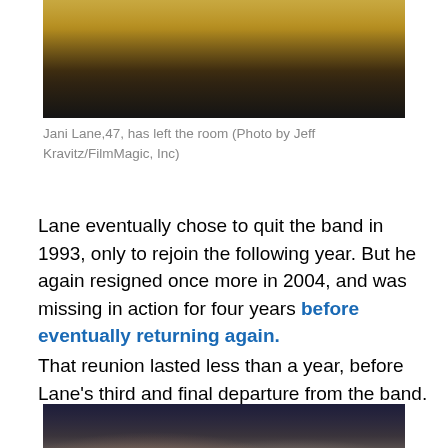[Figure (photo): Photo of Jani Lane, partially visible, cropped at top of page]
Jani Lane,47, has left the room (Photo by Jeff Kravitz/FilmMagic, Inc)
Lane eventually chose to quit the band in 1993, only to rejoin the following year. But he again resigned once more in 2004, and was missing in action for four years before eventually returning again.
That reunion lasted less than a year, before Lane's third and final departure from the band.
[Figure (photo): Photo of a crowd of fans at a concert, cheering with arms raised]